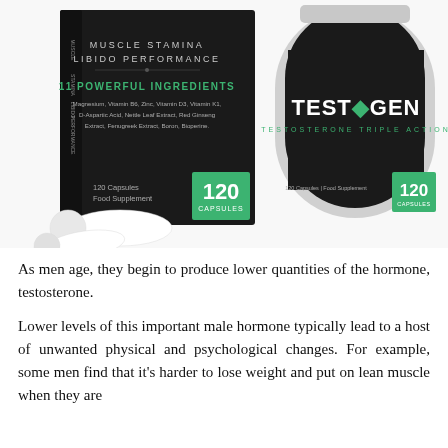[Figure (photo): Testogen supplement product photo showing a black box and black cylindrical bottle labeled 'TESTOGEN TESTOSTERONE TRIPLE ACTION'. The box shows '11 POWERFUL INGREDIENTS' listing Magnesium, Vitamin B6, Zinc, Vitamin D3, Vitamin K1, D-Aspartic Acid, Nettle Leaf Extract, Red Ginseng Extract, Fenugreek Extract, Boron, Bioperine. Both the box and bottle show '120 Capsules Food Supplement' and green '120 CAPSULES' badges. Two white capsules are visible in the foreground.]
As men age, they begin to produce lower quantities of the hormone, testosterone.
Lower levels of this important male hormone typically lead to a host of unwanted physical and psychological changes. For example, some men find that it's harder to lose weight and put on lean muscle when they are